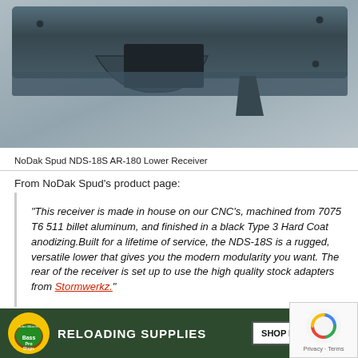[Figure (photo): NoDak Spud NDS-18S AR-180 lower receiver, dark grey/black aluminum, photographed on a light background]
NoDak Spud NDS-18S AR-180 Lower Receiver
From NoDak Spud's product page:
“This receiver is made in house on our CNC’s, machined from 7075 T6 511 billet aluminum, and finished in a black Type 3 Hard Coat anodizing.Built for a lifetime of service, the NDS-18S is a rugged, versatile lower that gives you the modern modularity you want. The rear of the receiver is set up to use the high quality stock adapters from Stormwerkz.”
[Figure (photo): Bass Pro Shops advertisement banner: RELOADING SUPPLIES with SHOP NOW button]